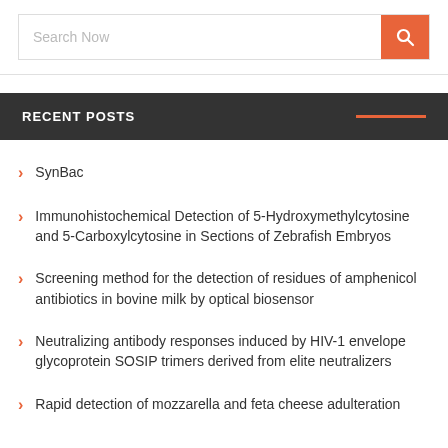Search Now
RECENT POSTS
SynBac
Immunohistochemical Detection of 5-Hydroxymethylcytosine and 5-Carboxylcytosine in Sections of Zebrafish Embryos
Screening method for the detection of residues of amphenicol antibiotics in bovine milk by optical biosensor
Neutralizing antibody responses induced by HIV-1 envelope glycoprotein SOSIP trimers derived from elite neutralizers
Rapid detection of mozzarella and feta cheese adulteration